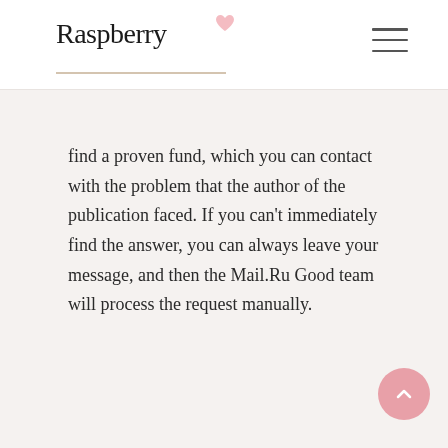Raspberry
find a proven fund, which you can contact with the problem that the author of the publication faced. If you can't immediately find the answer, you can always leave your message, and then the Mail.Ru Good team will process the request manually.